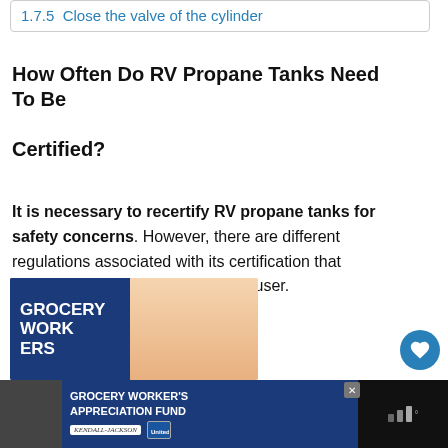1.7.5  Close the valve of the cylinder
How Often Do RV Propane Tanks Need To Be Certified?
It is necessary to recertify RV propane tanks for safety concerns. However, there are different regulations associated with its certification that needs to be followed by every RV user.
[Figure (photo): Grocery workers appreciation image with a smiling elderly woman]
[Figure (photo): Advertisement banner: GROCERY WORKER'S APPRECIATION FUND with Kendall-Jackson and United Way logos]